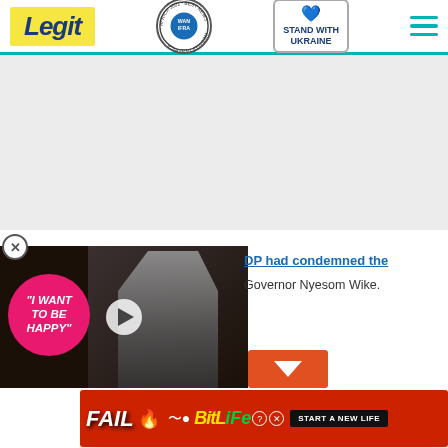Legit — WAN IFRA Africa 2021 Best News Website in Africa — Stand With Ukraine
[Figure (screenshot): Gray advertisement placeholder area]
[Figure (screenshot): Video thumbnail with pink bubble saying I WANT TO BE HAPPY with play button, person in suit in background]
DP had condemned the Governor Nyesom Wike.
[Figure (screenshot): BitLife advertisement: FAIL text with cartoon, START A NEW LIFE banner on red background]